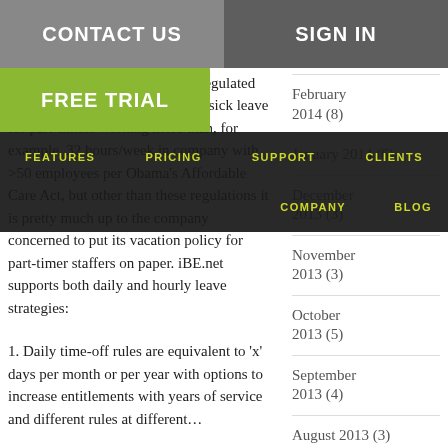CONTACT US | SIGN IN | FREE TRIAL | FEATURES | PRICING | SUPPORT | CLIENTS | COMPANY | BLOG
When asked about part-timers, if the company has an unlimited vacation policy, does it extends to vacation allowances for part-time staff? There are some regulated state and federal benefits such as sick leave for part-timers working more than, for example, 32 hours/week in company with >50 employees per Obama's Affordable Care Act, but other than these regulations it is pretty much up to the company concerned to put its vacation policy for part-timer staffers on paper. iBE.net supports both daily and hourly leave strategies:
1. Daily time-off rules are equivalent to 'x' days per month or per year with options to increase entitlements with years of service and different rules at different
April 2014 (7)
March 2014 (7)
February 2014 (8)
January 2014 (6)
December 2013 (3)
November 2013 (3)
October 2013 (5)
September 2013 (4)
August 2013 (3)
July 2013 (3)
June 2013 (3)